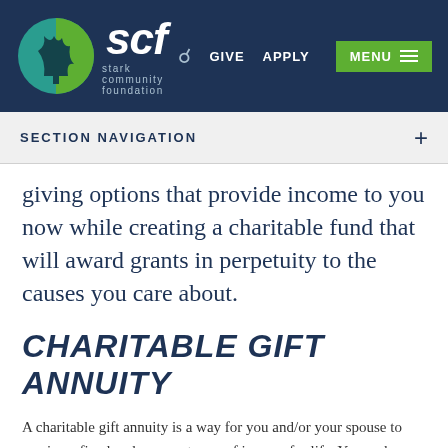[Figure (logo): Stark Community Foundation logo with teal/green tree circle icon and 'scf' text in white italic, navigation links: search icon, GIVE, APPLY, and green MENU button]
SECTION NAVIGATION +
giving options that provide income to you now while creating a charitable fund that will award grants in perpetuity to the causes you care about.
CHARITABLE GIFT ANNUITY
A charitable gift annuity is a way for you and/or your spouse to receive a fixed and secure stream of income for life. You make a charitable gift (and may contribute) to Stark